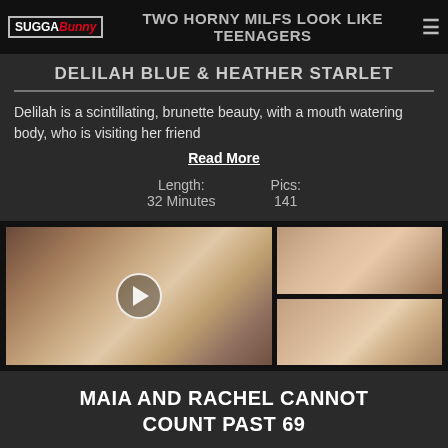TWO HORNY MILFS LOOK LIKE TEENAGERS
DELILAH BLUE & HEATHER STARLET
Delilah is a scintillating, brunette beauty, with a mouth watering body, who is visiting her friend Read More
Length: 32 Minutes   Pics: 141
[Figure (photo): Large thumbnail of two women on a couch with a play button overlay]
[Figure (photo): Small thumbnail of two women kissing]
[Figure (photo): Small thumbnail of two women together]
MAIA AND RACHEL CANNOT COUNT PAST 69